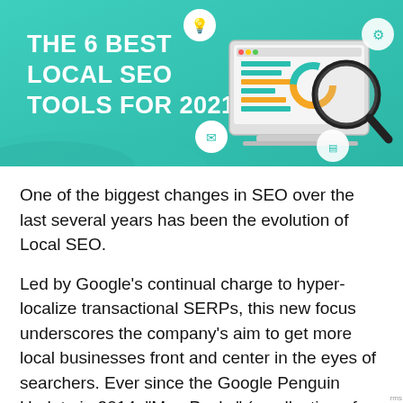[Figure (infographic): Banner graphic with teal background reading 'THE 6 BEST LOCAL SEO TOOLS FOR 2021' in bold white text, with illustrated laptop showing charts, magnifying glass, and floating circular icons (lightbulb, gear, envelope, analytics screen)]
One of the biggest changes in SEO over the last several years has been the evolution of Local SEO.
Led by Google’s continual charge to hyper-localize transactional SERPs, this new focus underscores the company’s aim to get more local businesses front and center in the eyes of searchers. Ever since the Google Penguin Update in 2014, “Map Packs” (a collection of the top 3 local businesses alongside a map showing their locations) have become increasingly important for virtually all brick-and-mortar businesses looking